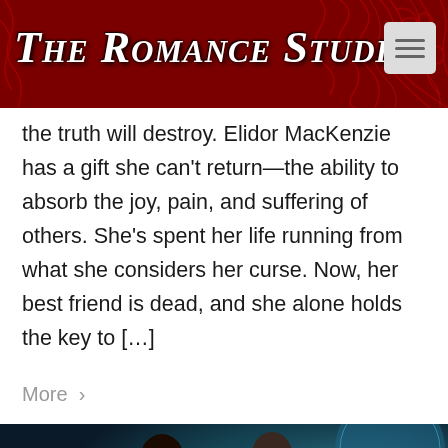The Romance Studio
the truth will destroy. Elidor MacKenzie has a gift she can't return—the ability to absorb the joy, pain, and suffering of others. She's spent her life running from what she considers her curse. Now, her best friend is dead, and she alone holds the key to […]
More >
[Figure (photo): Two figures seen from behind holding hands — a woman with dark curly hair wearing a white top with green sleeves and dark jeans, and a man in a grey jacket, standing before a cosmic/space background with blue swirling light and a partial view of a planet or space station]